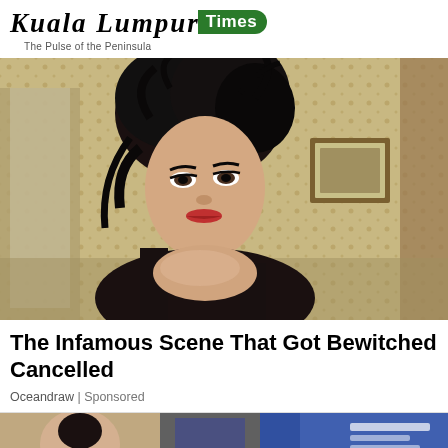[Figure (logo): Kuala Lumpur Times newspaper logo with black old-English font and green badge reading 'Times', tagline 'The Pulse of the Peninsula']
[Figure (photo): Woman with dark tousled short hair and dramatic eye makeup wearing a black sleeveless top, looking directly at camera, vintage interior background with floral wallpaper]
The Infamous Scene That Got Bewitched Cancelled
Oceandraw | Sponsored
[Figure (photo): Partial bottom strip showing another article image, cropped]